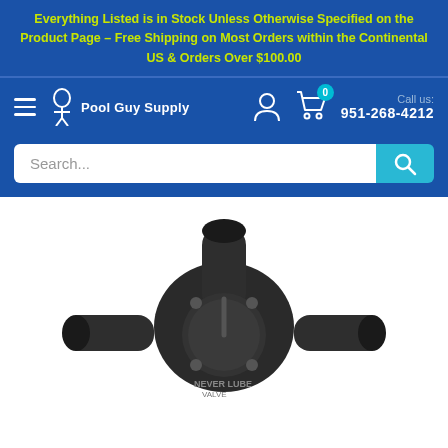Everything Listed is in Stock Unless Otherwise Specified on the Product Page - Free Shipping on Most Orders within the Continental US & Orders Over $100.00
[Figure (logo): Pool Guy Supply website header with hamburger menu, logo, user icon, cart (0), and phone number 951-268-4212]
Call us: 951-268-4212
Search...
[Figure (photo): Black PVC pool plumbing valve (Never Lube valve) with T-shaped body, screw-on fittings and a dial/handle on the front, photographed on white background]